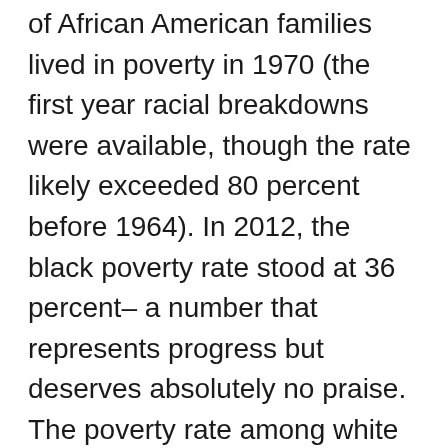of African American families lived in poverty in 1970 (the first year racial breakdowns were available, though the rate likely exceeded 80 percent before 1964). In 2012, the black poverty rate stood at 36 percent– a number that represents progress but deserves absolutely no praise. The poverty rate among white families has ticked down two points over that same period, from 16 percent to 14 percent, equal to the current national average.
County-by-county data from 1970, the earliest available, show that the Delta faced the state's worst poverty concentrations, though the condition was widespread. Even Mississippi's wealthiest counties exceeded the national